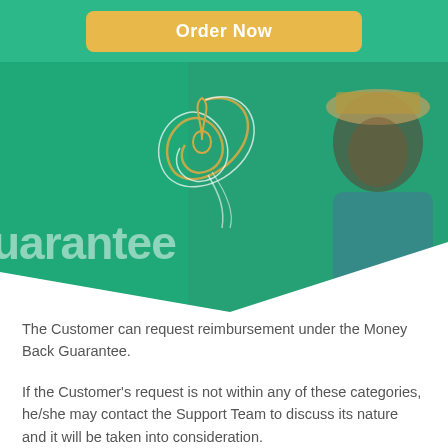Order Now
[Figure (illustration): Green banner hero section with partial text 'uarantee' in large white semi-transparent text, decorative swirl logo in gold and white, and a photo of a man wearing a hat overlaid with green tint]
The Customer can request reimbursement under the Money Back Guarantee.
If the Customer's request is not within any of these categories, he/she may contact the Support Team to discuss its nature and it will be taken into consideration.